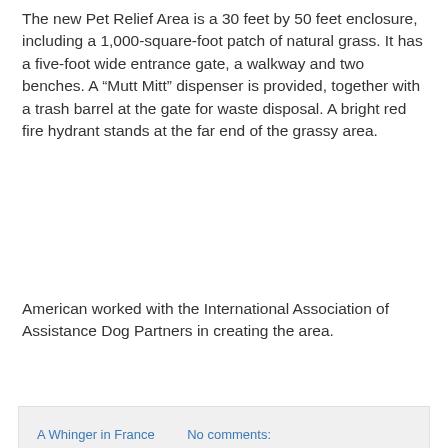The new Pet Relief Area is a 30 feet by 50 feet enclosure, including a 1,000-square-foot patch of natural grass. It has a five-foot wide entrance gate, a walkway and two benches. A “Mutt Mitt” dispenser is provided, together with a trash barrel at the gate for waste disposal. A bright red fire hydrant stands at the far end of the grassy area.
American worked with the International Association of Assistance Dog Partners in creating the area.
A Whinger in France    No comments:
Share
Saturday, 25 July 2009
Auntie Beeb & Irony
[Figure (photo): A partial image with a yellow/gold gradient background and a blue device visible in the lower right corner]